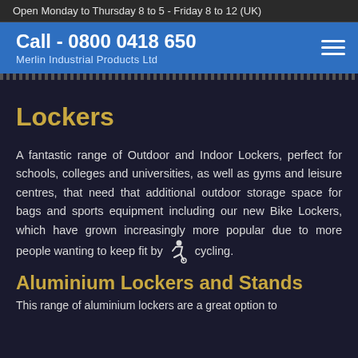Open Monday to Thursday 8 to 5 - Friday 8 to 12 (UK)
Call - 0800 0418 650
Merlin Industrial Products Ltd
Lockers
A fantastic range of Outdoor and Indoor Lockers, perfect for schools, colleges and universities, as well as gyms and leisure centres, that need that additional outdoor storage space for bags and sports equipment including our new Bike Lockers, which have grown increasingly more popular due to more people wanting to keep fit by cycling.
Aluminium Lockers and Stands
This page continues...